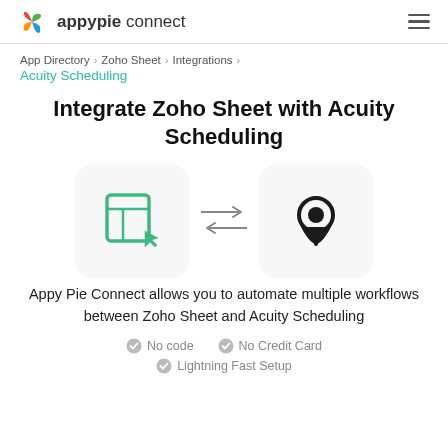appypie connect
App Directory > Zoho Sheet > Integrations > Acuity Scheduling
Integrate Zoho Sheet with Acuity Scheduling
[Figure (illustration): Zoho Sheet app icon (green spreadsheet with cursor) and Acuity Scheduling app icon (dark circular pin/location marker) with bidirectional arrows between them]
Appy Pie Connect allows you to automate multiple workflows between Zoho Sheet and Acuity Scheduling
No code
No Credit Card
Lightning Fast Setup